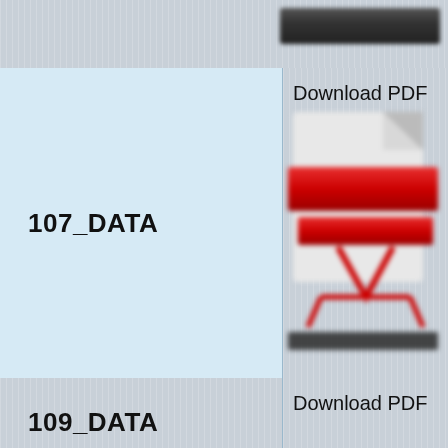107_DATA
[Figure (screenshot): Download PDF button with blurred Adobe PDF icon thumbnail, first row]
Download PDF
109_DATA
[Figure (screenshot): Download PDF button with blurred Adobe PDF icon thumbnail, second row]
Download PDF